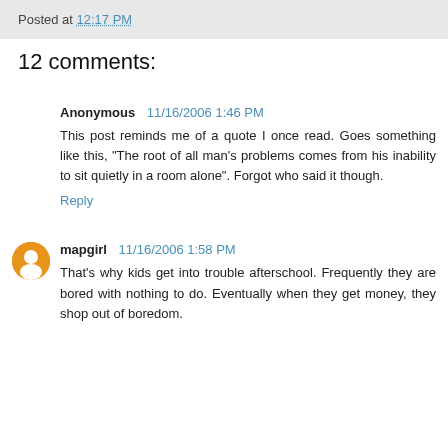Posted at 12:17 PM
12 comments:
Anonymous 11/16/2006 1:46 PM
This post reminds me of a quote I once read. Goes something like this, "The root of all man's problems comes from his inability to sit quietly in a room alone". Forgot who said it though.
Reply
mapgirl 11/16/2006 1:58 PM
That's why kids get into trouble afterschool. Frequently they are bored with nothing to do. Eventually when they get money, they shop out of boredom.